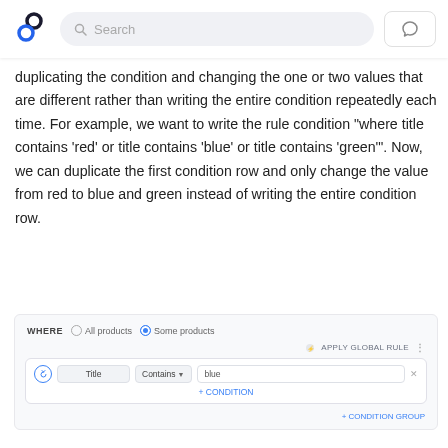Search
duplicating the condition and changing the one or two values that are different rather than writing the entire condition repeatedly each time. For example, we want to write the rule condition "where title contains 'red' or title contains 'blue' or title contains 'green'". Now, we can duplicate the first condition row and only change the value from red to blue and green instead of writing the entire condition row.
[Figure (screenshot): A UI screenshot showing a WHERE condition builder with 'Some products' selected, an 'APPLY GLOBAL RULE' link, a condition row with fields 'title', 'Contains', 'blue', and buttons for '+ CONDITION' and '+ CONDITION GROUP'.]